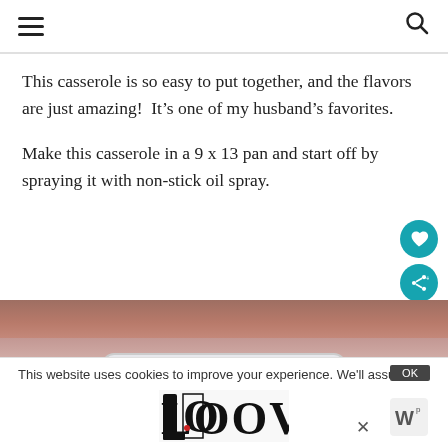[hamburger menu] [search icon]
This casserole is so easy to put together, and the flavors are just amazing!  It’s one of my husband’s favorites.
Make this casserole in a 9 x 13 pan and start off by spraying it with non-stick oil spray.
[Figure (photo): A casserole dish photographed from above on a wooden surface. A white baking dish is partially visible at the bottom of the frame.]
This website uses cookies to improve your experience. We'll assume
[Figure (logo): LOOVE decorative logo in black and white ornamental font with a small red detail]